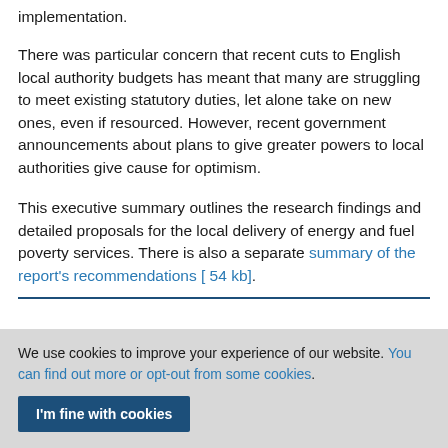implementation.
There was particular concern that recent cuts to English local authority budgets has meant that many are struggling to meet existing statutory duties, let alone take on new ones, even if resourced. However, recent government announcements about plans to give greater powers to local authorities give cause for optimism.
This executive summary outlines the research findings and detailed proposals for the local delivery of energy and fuel poverty services. There is also a separate summary of the report's recommendations [ 54 kb].
We use cookies to improve your experience of our website. You can find out more or opt-out from some cookies.
I'm fine with cookies